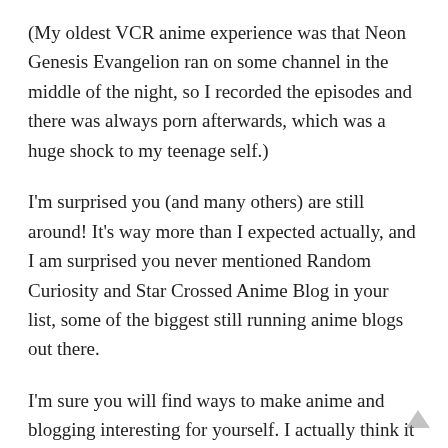(My oldest VCR anime experience was that Neon Genesis Evangelion ran on some channel in the middle of the night, so I recorded the episodes and there was always porn afterwards, which was a huge shock to my teenage self.)
I'm surprised you (and many others) are still around! It's way more than I expected actually, and I am surprised you never mentioned Random Curiosity and Star Crossed Anime Blog in your list, some of the biggest still running anime blogs out there.
I'm sure you will find ways to make anime and blogging interesting for yourself. I actually think it will most likely come naturally when a really, really great show appears. (I still remember the huge impact Haruhi